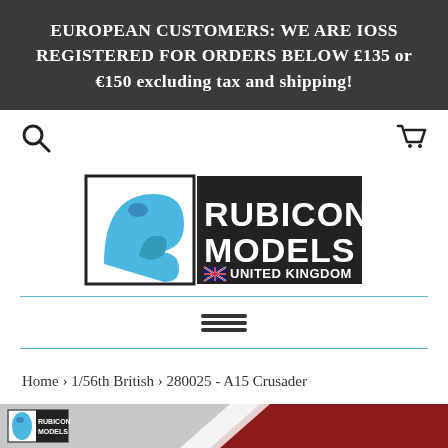EUROPEAN CUSTOMERS: WE ARE IOSS REGISTERED FOR ORDERS BELOW £135 or €150 excluding tax and shipping!
[Figure (logo): Rubicon Models United Kingdom logo with stylized 'R' in blue and black box]
Home › 1/56th British › 280025 - A15 Crusader
[Figure (photo): Partial view of Rubicon Models product packaging/image at bottom of page]